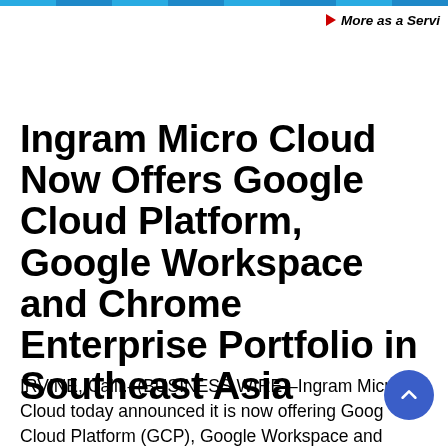▶ More as a Servi
Ingram Micro Cloud Now Offers Google Cloud Platform, Google Workspace and Chrome Enterprise Portfolio in Southeast Asia
IRVINE, Calif.–(BUSINESS WIRE)–Ingram Micro Cloud today announced it is now offering Google Cloud Platform (GCP), Google Workspace and